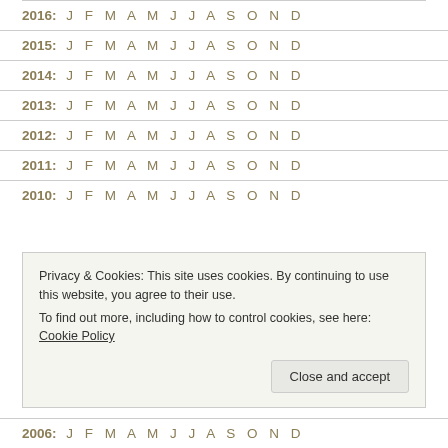2016: J F M A M J J A S O N D
2015: J F M A M J J A S O N D
2014: J F M A M J J A S O N D
2013: J F M A M J J A S O N D
2012: J F M A M J J A S O N D
2011: J F M A M J J A S O N D
2010: J F M A M J J A S O N D
Privacy & Cookies: This site uses cookies. By continuing to use this website, you agree to their use.
To find out more, including how to control cookies, see here: Cookie Policy
2006: J F M A M J J A S O N D